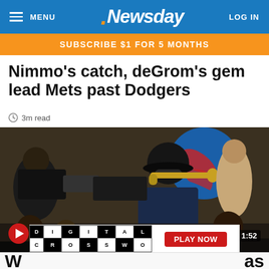MENU | Newsday | LOG IN
SUBSCRIBE $1 FOR 5 MONTHS
Nimmo's catch, deGrom's gem lead Mets past Dodgers
3m read
[Figure (photo): A baseball player wearing a black hat and sunglasses plays a trumpet near a TV camera, with the Mets mascot and crowd visible in the background. A video play button and 1:52 timestamp overlay are shown. A Digital Crossword ad with a Play Now button and Newsday logo is overlaid at the bottom.]